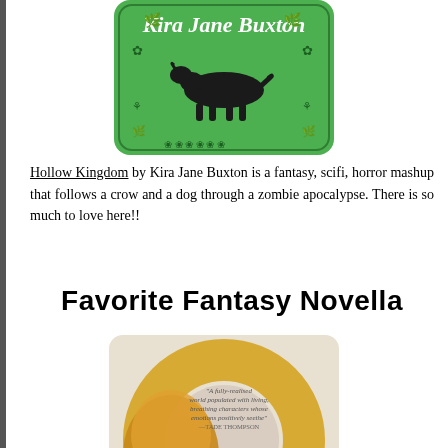[Figure (illustration): Book cover of Hollow Kingdom by Kira Jane Buxton — green background with floral border, black silhouette of a dog walking, decorative leaves and flowers]
Hollow Kingdom by Kira Jane Buxton is a fantasy, scifi, horror mashup that follows a crow and a dog through a zombie apocalypse. There is so much to love here!!
Favorite Fantasy Novella
[Figure (illustration): Book cover of Ormeshadow by Prita Sharma — beige/cream background with large golden foil ring/halo shape, small italic blurb text from Tade Thompson, title ORMESHADOW in bold serif capitals, author name PRITA SHARMA in spaced serif caps]